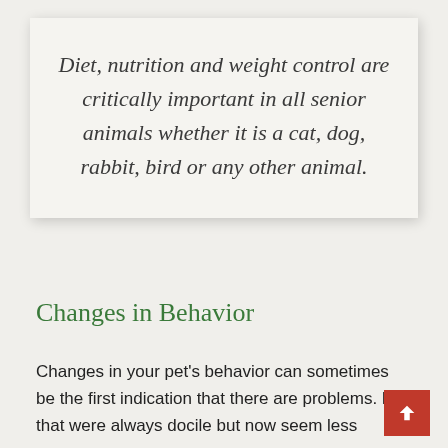Diet, nutrition and weight control are critically important in all senior animals whether it is a cat, dog, rabbit, bird or any other animal.
Changes in Behavior
Changes in your pet's behavior can sometimes be the first indication that there are problems. P… that were always docile but now seem less